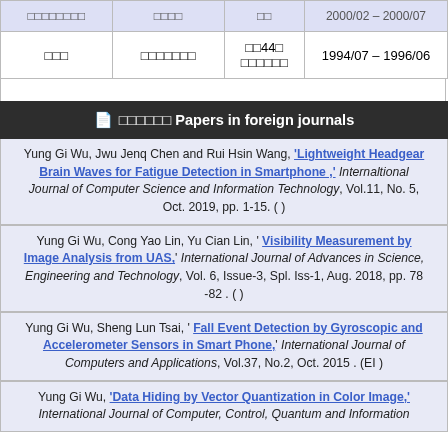| [CJK text] | [CJK text] | [CJK] | 2000/02 – 2000/07 |
| [CJK text] | [CJK text] | [CJK]44[CJK] [CJK text] | 1994/07 – 1996/06 |
📄 [CJK text] Papers in foreign journals
Yung Gi Wu, Jwu Jenq Chen and Rui Hsin Wang, 'Lightweight Headgear Brain Waves for Fatigue Detection in Smartphone ,' Internaltional Journal of Computer Science and Information Technology, Vol.11, No. 5, Oct. 2019, pp. 1-15. ( )
Yung Gi Wu, Cong Yao Lin, Yu Cian Lin, ' Visibility Measurement by Image Analysis from UAS,' International Journal of Advances in Science, Engineering and Technology, Vol. 6, Issue-3, Spl. Iss-1, Aug. 2018, pp. 78 -82 . ( )
Yung Gi Wu, Sheng Lun Tsai, ' Fall Event Detection by Gyroscopic and Accelerometer Sensors in Smart Phone,' International Journal of Computers and Applications, Vol.37, No.2, Oct. 2015 . (EI )
Yung Gi Wu, 'Data Hiding by Vector Quantization in Color Image,' International Journal of Computer, Control, Quantum and Information